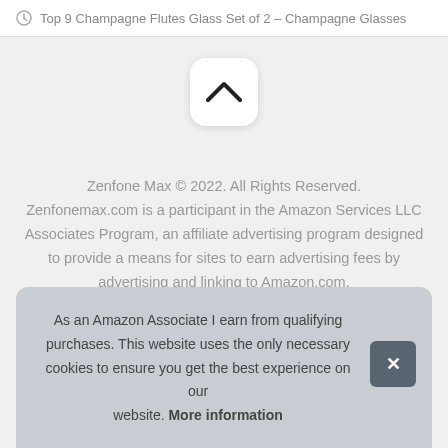Top 9 Champagne Flutes Glass Set of 2 – Champagne Glasses
[Figure (other): Scroll-to-top button with chevron/caret up arrow on white rounded square background]
Zenfone Max © 2022. All Rights Reserved. Zenfonemax.com is a participant in the Amazon Services LLC Associates Program, an affiliate advertising program designed to provide a means for sites to earn advertising fees by advertising and linking to Amazon.com.
As an Amazon Associate I earn from qualifying purchases. This website uses the only necessary cookies to ensure you get the best experience on our website. More information